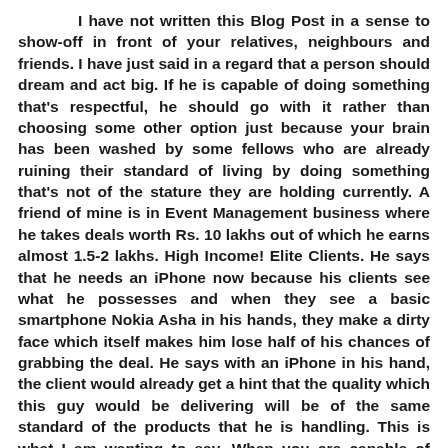I have not written this Blog Post in a sense to show-off in front of your relatives, neighbours and friends. I have just said in a regard that a person should dream and act big. If he is capable of doing something that's respectful, he should go with it rather than choosing some other option just because your brain has been washed by some fellows who are already ruining their standard of living by doing something that's not of the stature they are holding currently. A friend of mine is in Event Management business where he takes deals worth Rs. 10 lakhs out of which he earns almost 1.5-2 lakhs. High Income! Elite Clients. He says that he needs an iPhone now because his clients see what he possesses and when they see a basic smartphone Nokia Asha in his hands, they make a dirty face which itself makes him lose half of his chances of grabbing the deal. He says with an iPhone in his hand, the client would already get a hint that the quality which this guy would be delivering will be of the same standard of the products that he is handling. This is what I am wanting to say. When you are capable of maintaining a standard of living where you can afford an iPhone, why to